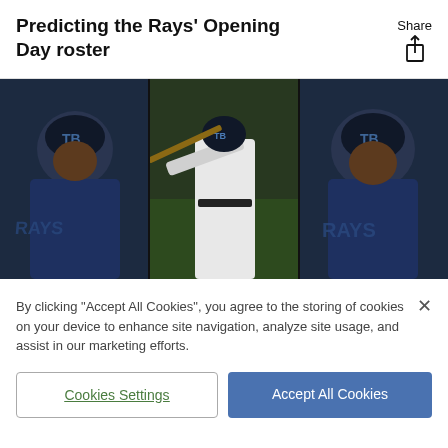Predicting the Rays' Opening Day roster
[Figure (photo): Three Tampa Bay Rays baseball players in a composite photo. Left panel shows a player in a dark navy Rays jersey. Center panel shows a player in white uniform mid-swing batting. Right panel shows a player in dark navy Rays jersey with RAYS text visible.]
By clicking "Accept All Cookies", you agree to the storing of cookies on your device to enhance site navigation, analyze site usage, and assist in our marketing efforts.
Cookies Settings
Accept All Cookies